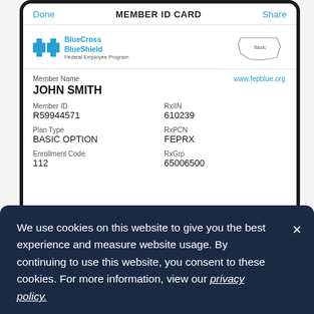[Figure (screenshot): Mobile phone screenshot showing BlueCross BlueShield Federal Employee Program Member ID Card with member name JOHN SMITH, Member ID R59944571, RxIIN 610239, Plan Type BASIC OPTION, RxPCN FEPRX, Enrollment Code 112, RxGrp 65006500, and website www.fepblue.org]
We use cookies on this website to give you the best experience and measure website usage. By continuing to use this website, you consent to these cookies. For more information, view our privacy policy.
anytime, anywhere